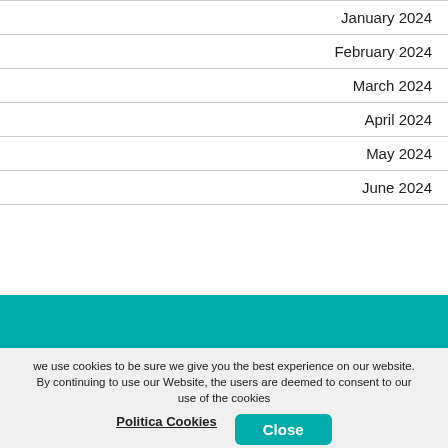January 2024
February 2024
March 2024
April 2024
May 2024
June 2024
Corporate Taoticket
[Figure (logo): Taoticket Network logo — red circle with white arrows icon, white text 'taoticket' and 'network' below]
we use cookies to be sure we give you the best experience on our website. By continuing to use our Website, the users are deemed to consent to our use of the cookies
Politica Cookies   Close